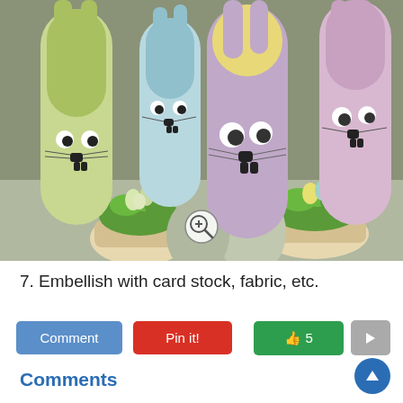[Figure (photo): Photo of Easter bunny craft projects made from cardboard tubes decorated with googly eyes, drawn faces, and colored paper/card stock. Multiple bunny tubes in green, blue, yellow/purple, and pink colors are shown alongside Easter cupcakes decorated with green frosting grass and candy eggs. A zoom icon is overlaid in the center-bottom area.]
7. Embellish with card stock, fabric, etc.
Comment  Pin it!  👍 5
Comments